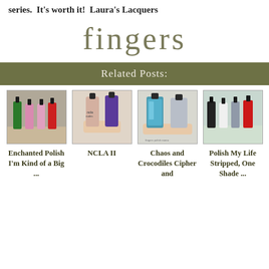series.  It's worth it!  Laura's Lacquers
fingers
Related Posts:
[Figure (photo): Photo of nail polish bottles - Enchanted Polish]
Enchanted Polish I'm Kind of a Big ...
[Figure (photo): Photo of NCLA nail polish bottles including nude and purple]
NCLA II
[Figure (photo): Photo of two nail polish bottles including a holographic blue glitter and a grey]
Chaos and Crocodiles Cipher and
[Figure (photo): Photo of several nail polish bottles in dark, white, grey and red]
Polish My Life Stripped, One Shade ...